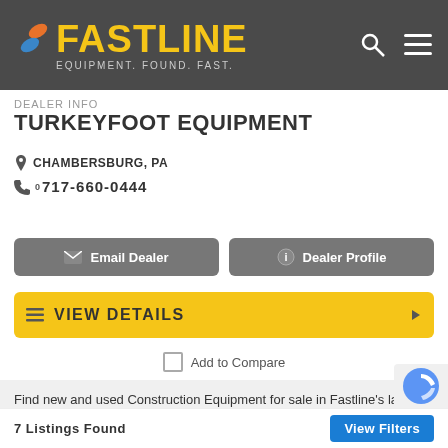FASTLINE — EQUIPMENT. FOUND. FAST.
Dealer Info
TURKEYFOOT EQUIPMENT
CHAMBERSBURG, PA
717-660-0444
Email Dealer
Dealer Profile
VIEW DETAILS
Add to Compare
Find new and used Construction Equipment for sale in Fastline's large database. Hundreds of Construction Equipment for sale with competitive pricing. Filter your search results with the tool to the right of the lis
7 Listings Found    View Filters